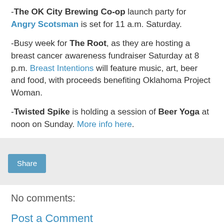-The OK City Brewing Co-op launch party for Angry Scotsman is set for 11 a.m. Saturday.
-Busy week for The Root, as they are hosting a breast cancer awareness fundraiser Saturday at 8 p.m. Breast Intentions will feature music, art, beer and food, with proceeds benefiting Oklahoma Project Woman.
-Twisted Spike is holding a session of Beer Yoga at noon on Sunday. More info here.
Share
No comments:
Post a Comment